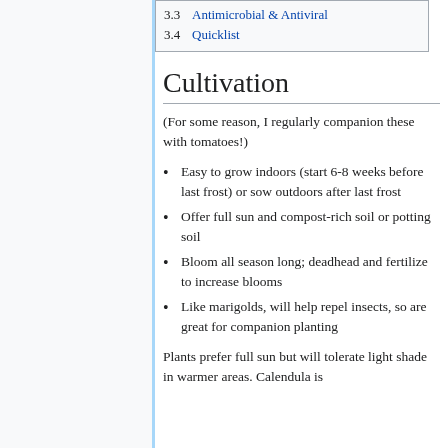3.3 Antimicrobial & Antiviral
3.4 Quicklist
Cultivation
(For some reason, I regularly companion these with tomatoes!)
Easy to grow indoors (start 6-8 weeks before last frost) or sow outdoors after last frost
Offer full sun and compost-rich soil or potting soil
Bloom all season long; deadhead and fertilize to increase blooms
Like marigolds, will help repel insects, so are great for companion planting
Plants prefer full sun but will tolerate light shade in warmer areas. Calendula is